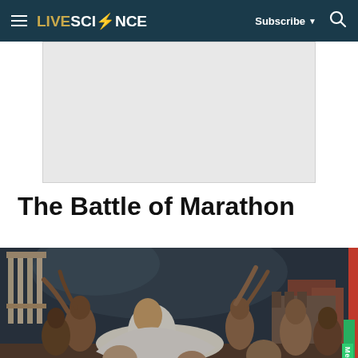LIVESCIENCE — Subscribe — Search
[Figure (other): Advertisement placeholder — light grey rectangle]
The Battle of Marathon
[Figure (photo): A classical painting depicting the Battle of Marathon, with figures in ancient Greek dress, a fallen warrior in white at center, mourning figures surrounding him, temple columns visible upper left, stormy sky. A green 'Merson' watermark tag appears at lower right.]